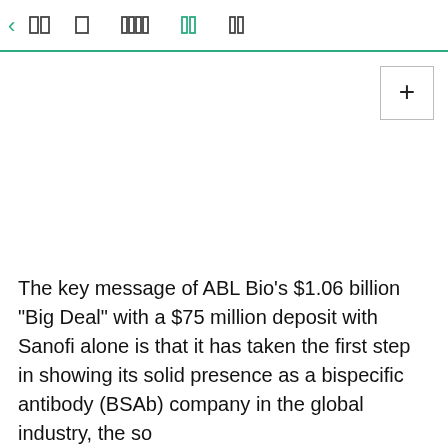< [nav icons] ABL Bio navigation bar
The key message of ABL Bio's $1.06 billion "Big Deal" with a $75 million deposit with Sanofi alone is that it has taken the first step in showing its solid presence as a bispecific antibody (BSAb) company in the global industry, the so...